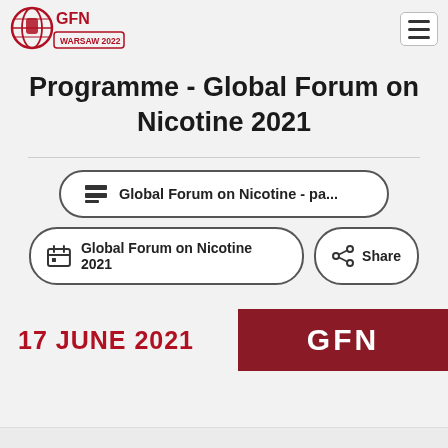GFN Warsaw 2022 logo and navigation hamburger menu
Programme - Global Forum on Nicotine 2021
Global Forum on Nicotine - pa... (button)
Global Forum on Nicotine 2021 (calendar button)
Share (button)
17 JUNE 2021
GFN